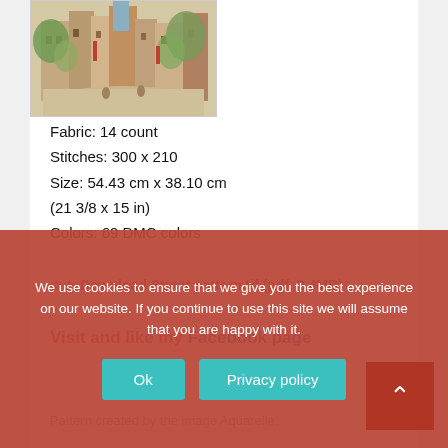[Figure (illustration): Watercolor illustration of a European street scene with buildings and trees]
Fabric: 14 count
Stitches: 300 x 210
Size: 54.43 cm x 38.10 cm
(21 3/8 x 15 in)
Colors: 69 DMC colors
Visit and like my Facebook page
We use cookies to ensure that we give you the best experience on our website. If you continue to use this site we will assume that you are happy with it.
Ok
Privacy policy
Download Street pattern.tif (pdf, 2.4MB)
Pattern created by the image Aquarelle: Cet pattern...